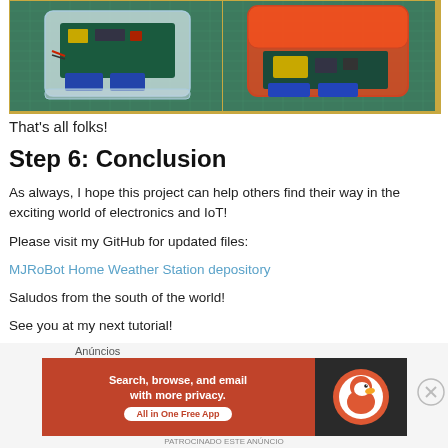[Figure (photo): Two photos of IoT/Arduino device in clear and red plastic enclosures on a green cutting mat]
That's all folks!
Step 6: Conclusion
As always, I hope this project can help others find their way in the exciting world of electronics and IoT!
Please visit my GitHub for updated files:
MJRoBot Home Weather Station depository
Saludos from the south of the world!
See you at my next tutorial!
Anúncios
[Figure (photo): DuckDuckGo advertisement banner: Search, browse, and email with more privacy. All in One Free App]